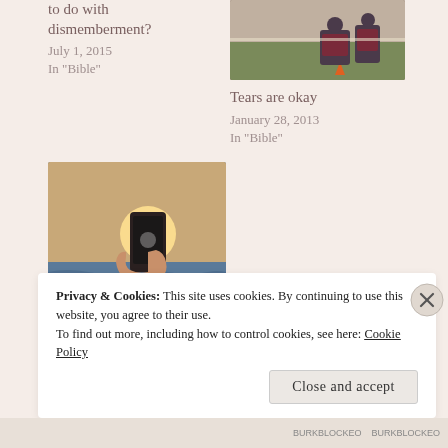to do with dismemberment?
July 1, 2015
In "Bible"
[Figure (photo): Sports photo showing people on a field with an orange cone visible]
Tears are okay
January 28, 2013
In "Bible"
[Figure (photo): Person holding a phone up toward a bright sun near water/coastline at sunset]
Don't let your insecurity dictate your direction
December 16, 2015
In "Bible"
Privacy & Cookies: This site uses cookies. By continuing to use this website, you agree to their use.
To find out more, including how to control cookies, see here: Cookie Policy
Close and accept